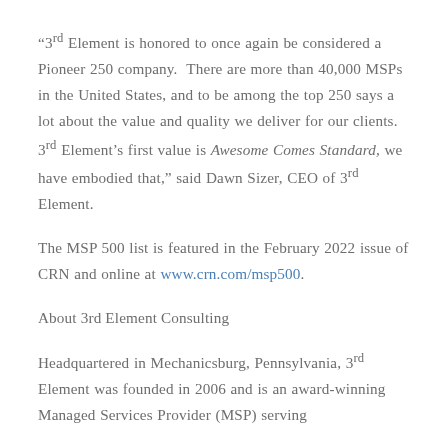“3rd Element is honored to once again be considered a Pioneer 250 company. There are more than 40,000 MSPs in the United States, and to be among the top 250 says a lot about the value and quality we deliver for our clients. 3rd Element’s first value is Awesome Comes Standard, we have embodied that,” said Dawn Sizer, CEO of 3rd Element.
The MSP 500 list is featured in the February 2022 issue of CRN and online at www.crn.com/msp500.
About 3rd Element Consulting
Headquartered in Mechanicsburg, Pennsylvania, 3rd Element was founded in 2006 and is an award-winning Managed Services Provider (MSP) serving